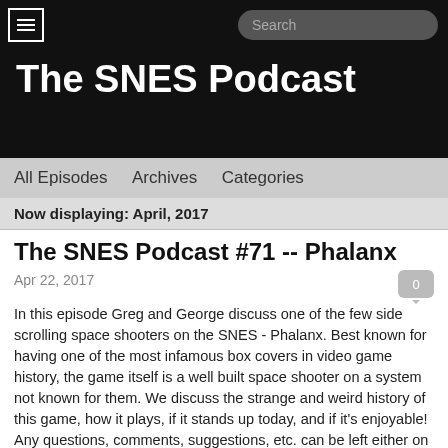The SNES Podcast
All Episodes   Archives   Categories
Now displaying: April, 2017
The SNES Podcast #71 -- Phalanx
Apr 22, 2017
In this episode Greg and George discuss one of the few side scrolling space shooters on the SNES - Phalanx.  Best known for having one of the most infamous box covers in video game history, the game itself is a well built space shooter on a system not known for them.  We discuss the strange and weird history of this game, how it plays, if it stands up today, and if it's enjoyable!  Any questions, comments, suggestions, etc. can be left either on our FB page or e-mailed to me at thesnsespodcast@yahoo.com. Thanks again for your support!